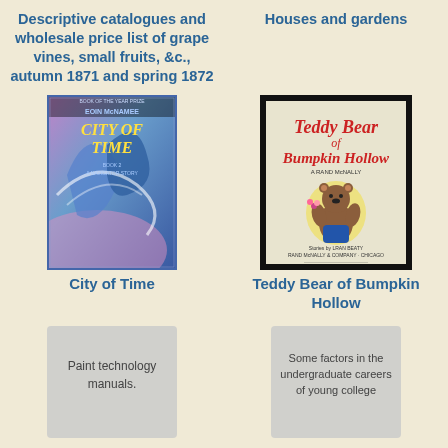Descriptive catalogues and wholesale price list of grape vines, small fruits, &c., autumn 1871 and spring 1872
Houses and gardens
[Figure (illustration): Book cover of 'City of Time' by Eoin McNamee showing a blue swirling fantasy scene]
[Figure (illustration): Book cover of 'Teddy Bear of Bumpkin Hollow' showing a teddy bear holding flowers on a light background with black border]
City of Time
Teddy Bear of Bumpkin Hollow
[Figure (illustration): Gray placeholder box with text: Paint technology manuals.]
[Figure (illustration): Gray placeholder box with text: Some factors in the undergraduate careers of young college]
Paint technology manuals.
Some factors in the undergraduate careers of young college